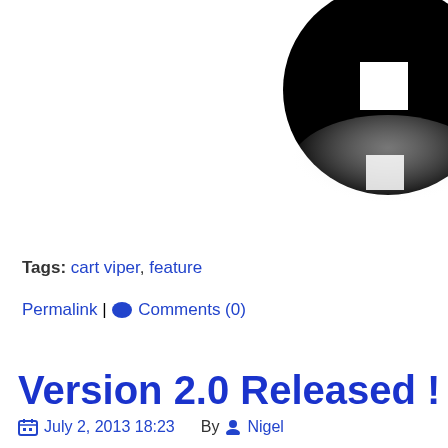[Figure (logo): Large black circular logo with white square cutout, with a grey reflection/shadow below it, positioned in upper right area]
Tags: cart viper, feature
Permalink | Comments (0)
Version 2.0 Released !
July 2, 2013 18:23   By  Nigel